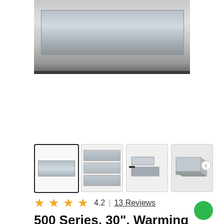[Figure (photo): Main product image of a stainless steel warming drawer front panel, wide rectangle with metallic finish]
[Figure (photo): Thumbnail 1 (selected): Front view of warming drawer stainless steel panel]
[Figure (photo): Thumbnail 2: Stacked multiple drawer fronts in stainless steel]
[Figure (photo): Thumbnail 3: Angled open view of warming drawer]
[Figure (photo): Thumbnail 4: Side angled view of warming drawer partially open]
4.2 | 13 Reviews
500 Series, 30", Warming Drawer